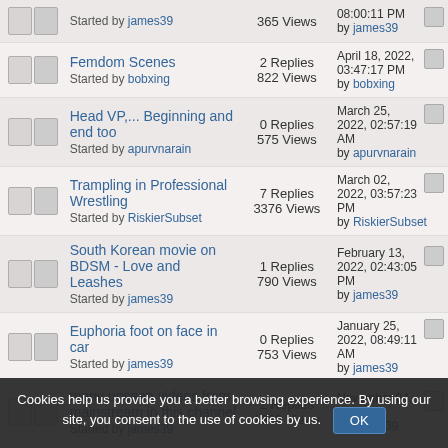|  | Topic | Stats | Last Post |
| --- | --- | --- | --- |
|  | Femdom Scenes
Started by bobxing | 2 Replies
822 Views | April 18, 2022, 03:47:17 PM
by bobxing |
|  | Head VP,... Beginning and end too
Started by apurvnarain | 0 Replies
575 Views | March 25, 2022, 02:57:19 AM
by apurvnarain |
|  | Trampling in Professional Wrestling
Started by RiskierSubset | 7 Replies
3376 Views | March 02, 2022, 03:57:23 PM
by RiskierSubset |
|  | South Korean movie on BDSM - Love and Leashes
Started by james39 | 1 Replies
790 Views | February 13, 2022, 02:43:05 PM
by james39 |
|  | Euphoria foot on face in car
Started by james39 | 0 Replies
753 Views | January 25, 2022, 08:49:11 AM
by james39 |
|  | many unseen videos from mainstream in this channel
Started by james39 | 2 Replies
1902 Views | November 04, 2021,
by james39 |
|  | WRESTLING TRAMPLE | 1 Replies | October 30, 2021 |
Cookies help us provide you a better browsing experience. By using our site, you consent to the use of cookies by us.